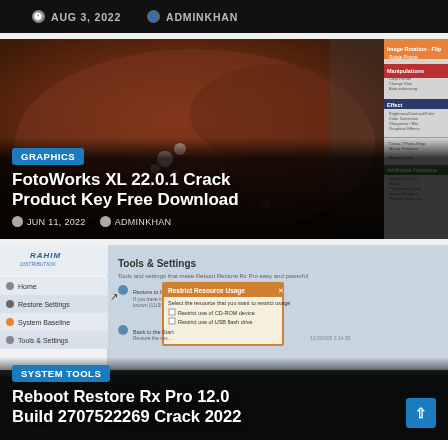AUG 3, 2022  ADMINKHAN
[Figure (screenshot): FotoWorks XL software screenshot showing photo editing interface with a woman with flowers in hair]
GRAPHICS
FotoWorks XL 22.0.1 Crack Product Key Free Download
JUN 11, 2022  ADMINKHAN
[Figure (screenshot): Reboot Restore Rx Pro software screenshot showing Tools & Settings interface with a dialog for restricting resource usage]
SYSTEM TOOLS
Reboot Restore Rx Pro 12.0 Build 2707522269 Crack 2022